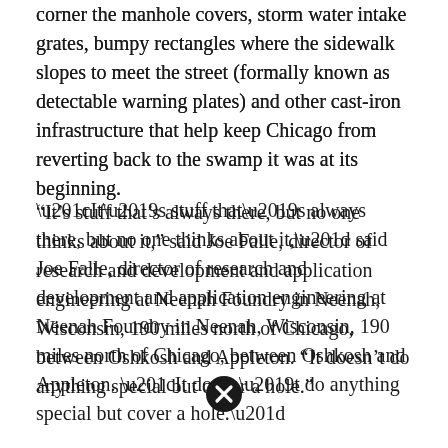corner the manhole covers, storm water intake grates, bumpy rectangles where the sidewalk slopes to meet the street (formally known as detectable warning plates) and other cast-iron infrastructure that help keep Chicago from reverting back to the swamp it was at its beginning.
“It’s stuff that’s always there, but no one thinks about it,” said Joe Falle, director of research and development and application engineering at Neenah Foundry in Neenah, Wisconsin, 190 miles north of Chicago, between Oshkosh and Appleton. “It doesn’t do anything special but cover a hole.”
[Figure (other): A circular black icon with a white X (close/dismiss button)]